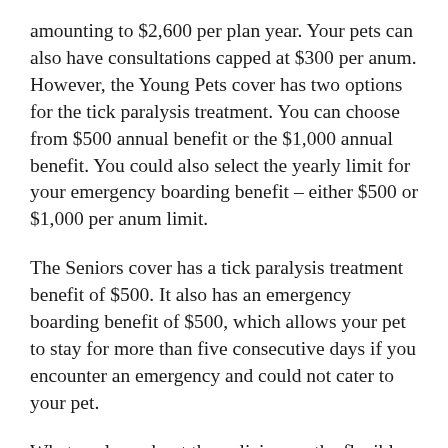amounting to $2,600 per plan year. Your pets can also have consultations capped at $300 per anum. However, the Young Pets cover has two options for the tick paralysis treatment. You can choose from $500 annual benefit or the $1,000 annual benefit. You could also select the yearly limit for your emergency boarding benefit – either $500 or $1,000 per anum limit.
The Seniors cover has a tick paralysis treatment benefit of $500. It also has an emergency boarding benefit of $500, which allows your pet to stay for more than five consecutive days if you encounter an emergency and could not cater to your pet.
What we love about the policies are the flexible cover options. Since they cater to all ages of your pets, there is always a specific coverage for every age bracket. A routine care benefit is also an option you can add-on with your policy. With an additional payment, you can avail of covered